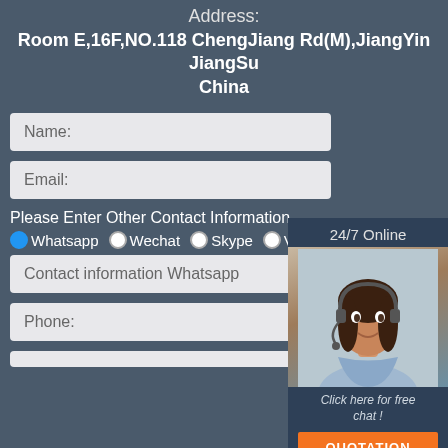Address:
Room E,16F,NO.118 ChengJiang Rd(M),JiangYin JiangSu China
24/7 Online
[Figure (photo): Customer service representative wearing headset, smiling]
Click here for free chat !
QUOTATION
Name:
Email:
Please Enter Other Contact Information
Whatsapp
Wechat
Skype
Viber
Contact information Whatsapp
Phone:
[Figure (infographic): TOP badge in orange with arc dots above]